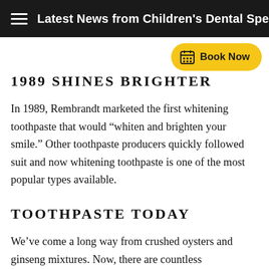Latest News from Children's Dental Specialties
[Figure (other): Book Now button with calendar icon]
1989 SHINES BRIGHTER
In 1989, Rembrandt marketed the first whitening toothpaste that would “whiten and brighten your smile.” Other toothpaste producers quickly followed suit and now whitening toothpaste is one of the most popular types available.
TOOTHPASTE TODAY
We’ve come a long way from crushed oysters and ginseng mixtures. Now, there are countless